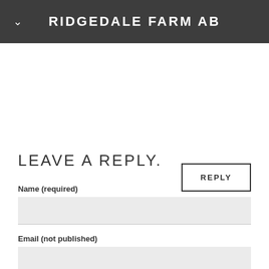RIDGEDALE FARM AB
REPLY
LEAVE A REPLY.
Name (required)
Email (not published)
Website